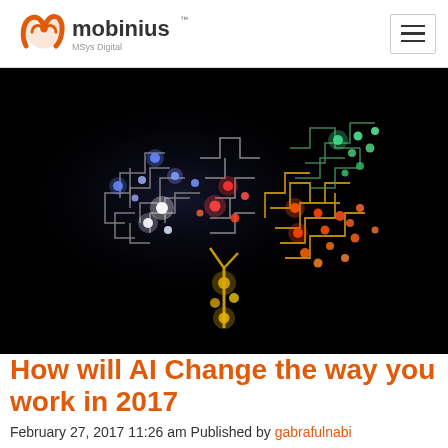mobinius MSys Digital
[Figure (illustration): Digital circuit board brain illustration on black background with colorful glowing nodes — blue, green, orange and red circuit traces forming a brain shape]
How will AI Change the way you work in 2017
February 27, 2017 11:26 am Published by gabrafulnabi